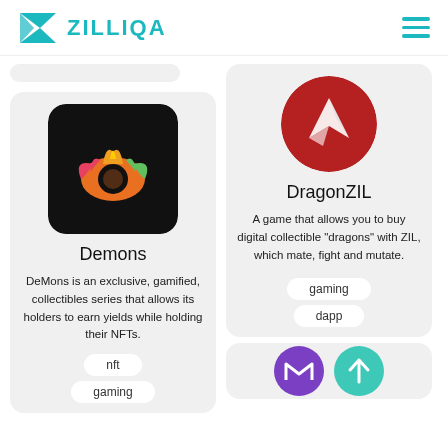ZILLIQA
[Figure (logo): Demons app logo: black rounded square with a colorful eye and crown/flame design]
Demons
DeMons is an exclusive, gamified, collectibles series that allows its holders to earn yields while holding their NFTs.
nft
gaming
[Figure (logo): DragonZIL logo: red circle with white origami dragon silhouette]
DragonZIL
A game that allows you to buy digital collectible "dragons" with ZIL, which mate, fight and mutate.
gaming
dapp
[Figure (logo): Partial view of two logos at bottom right - purple and teal circles]